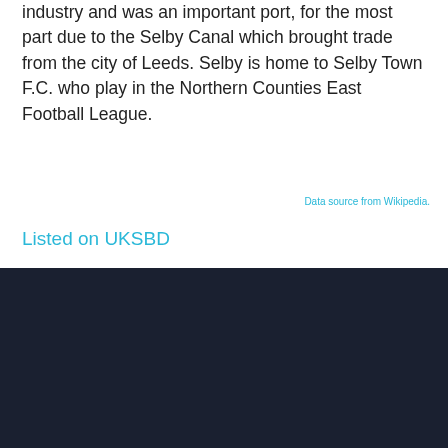industry and was an important port, for the most part due to the Selby Canal which brought trade from the city of Leeds. Selby is home to Selby Town F.C. who play in the Northern Counties East Football League.
Data source from Wikipedia.
Listed on UKSBD
[Figure (logo): Milestone logo in white text on dark background at bottom of page]